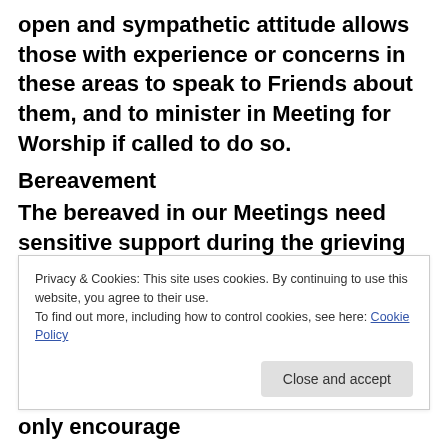open and sympathetic attitude allows those with experience or concerns in these areas to speak to Friends about them, and to minister in Meeting for Worship if called to do so.
Bereavement
The bereaved in our Meetings need sensitive support during the grieving process and sources of knowledge concerning the afterlife should be available. Bereaved people will sometimes feel the need to speak of their condition, and of their experiences, but are often discouraged from doing so
Privacy & Cookies: This site uses cookies. By continuing to use this website, you agree to their use.
To find out more, including how to control cookies, see here: Cookie Policy
all acts of corporate worship. This can only encourage